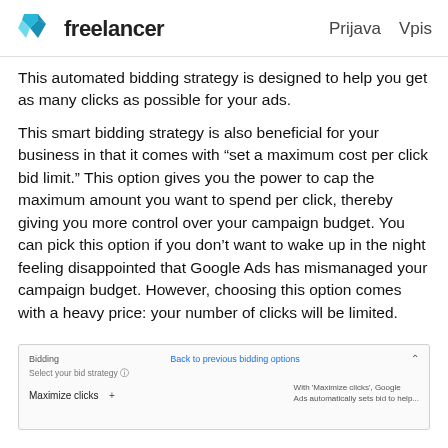Freelancer | Prijava  Vpis
This automated bidding strategy is designed to help you get as many clicks as possible for your ads.
This smart bidding strategy is also beneficial for your business in that it comes with “set a maximum cost per click bid limit.” This option gives you the power to cap the maximum amount you want to spend per click, thereby giving you more control over your campaign budget. You can pick this option if you don’t want to wake up in the night feeling disappointed that Google Ads has mismanaged your campaign budget. However, choosing this option comes with a heavy price: your number of clicks will be limited.
[Figure (screenshot): Screenshot of Google Ads bidding interface showing Bidding section with 'Back to previous bidding options' link, 'Select your bid strategy' dropdown set to 'Maximize clicks' with a plus button, and explanatory text on the right about With 'Maximize clicks', Google Ads automatically sets bid to help.]